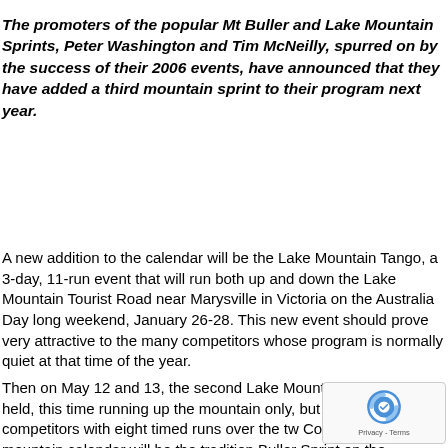The promoters of the popular Mt Buller and Lake Mountain Sprints, Peter Washington and Tim McNeilly, spurred on by the success of their 2006 events, have announced that they have added a third mountain sprint to their program next year.
A new addition to the calendar will be the Lake Mountain Tango, a 3-day, 11-run event that will run both up and down the Lake Mountain Tourist Road near Marysville in Victoria on the Australia Day long weekend, January 26-28. This new event should prove very attractive to the many competitors whose program is normally quiet at that time of the year.
Then on May 12 and 13, the second Lake Mountain Sprint will be held, this time running up the mountain only, but still providing competitors with eight timed runs over the tw... Completing the mountain calendar will be the tradition... Buller Sprint on the Melbourne Cup weekend of Nove... The recent Mt Buller event trialled the Cup weekend instead of